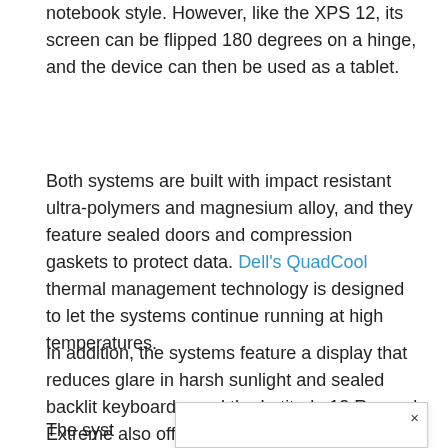notebook style. However, like the XPS 12, its screen can be flipped 180 degrees on a hinge, and the device can then be used as a tablet.
Both systems are built with impact resistant ultra-polymers and magnesium alloy, and they feature sealed doors and compression gaskets to protect data. Dell's QuadCool thermal management technology is designed to let the systems continue running at high temperatures.
In addition, the systems feature a display that reduces glare in harsh sunlight and sealed backlit keyboards, and the Latitude 12 Rugged Extreme also offers resistive multitouch technology that enables it to recognize intuitive gestures from users wearing thick gloves, and an 8-megapixel bottom camera with flash.
The syst
12) to